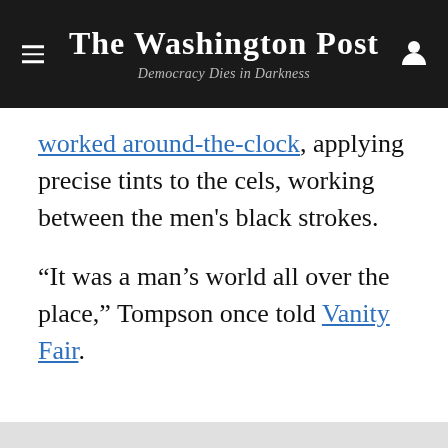The Washington Post — Democracy Dies in Darkness
worked around-the-clock, applying precise tints to the cels, working between the men's black strokes.
“It was a man’s world all over the place,” Tompson once told Vanity Fair.